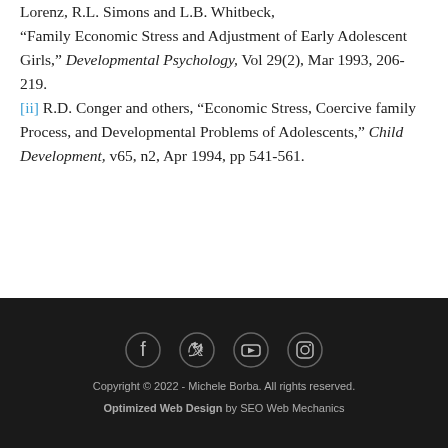Lorenz, R.L. Simons and L.B. Whitbeck, “Family Economic Stress and Adjustment of Early Adolescent Girls,” Developmental Psychology, Vol 29(2), Mar 1993, 206-219. [ii] R.D. Conger and others, “Economic Stress, Coercive family Process, and Developmental Problems of Adolescents,” Child Development, v65, n2, Apr 1994, pp 541-561.
Copyright © 2022 - Michele Borba. All rights reserved. Optimized Web Design by SEO Web Mechanics